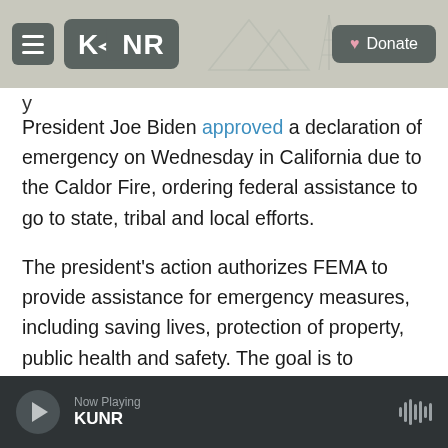KUNR | Donate
President Joe Biden approved a declaration of emergency on Wednesday in California due to the Caldor Fire, ordering federal assistance to go to state, tribal and local efforts.
The president’s action authorizes FEMA to provide assistance for emergency measures, including saving lives, protection of property, public health and safety. The goal is to alleviate hardship caused by the blaze on the local community.
Lucia Starbuck is a corps member for Report for
Now Playing KUNR